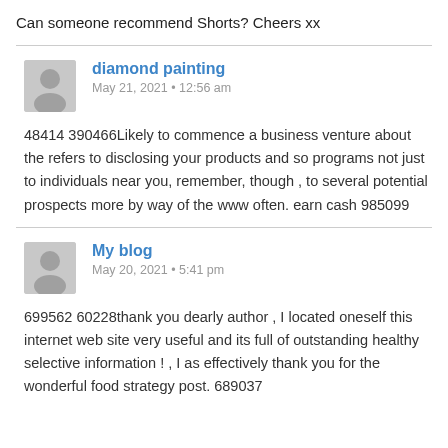Can someone recommend Shorts? Cheers xx
diamond painting
May 21, 2021 • 12:56 am
48414 390466Likely to commence a business venture about the refers to disclosing your products and so programs not just to individuals near you, remember, though , to several potential prospects more by way of the www often. earn cash 985099
My blog
May 20, 2021 • 5:41 pm
699562 60228thank you dearly author , I located oneself this internet web site very useful and its full of outstanding healthy selective information ! , I as effectively thank you for the wonderful food strategy post. 689037